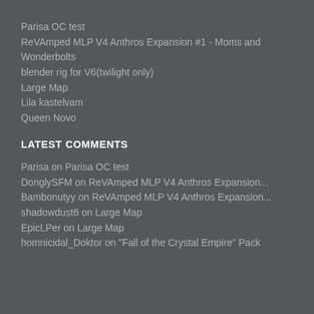Parisa OC test
ReVAmped MLP V4 Anthros Expansion #1 - Moms and Wonderbolts
blender rig for V6(twilight only)
Large Map
Lila kastelvam
Queen Novo
LATEST COMMENTS
Parisa on Parisa OC test
DonglySFM on ReVAmped MLP V4 Anthros Expansion...
Bambonutyy on ReVAmped MLP V4 Anthros Expansion...
shadowdust6 on Large Map
EpicLPer on Large Map
homnicidal_Doktor on "Fall of the Crystal Empire" Pack